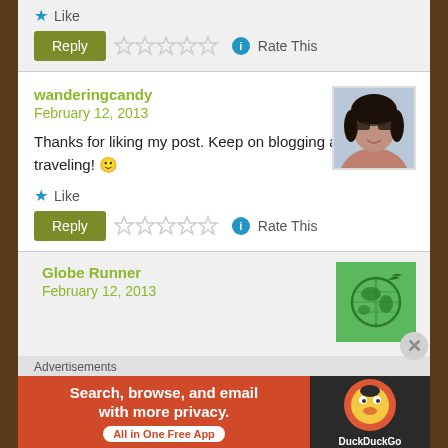Like
[Figure (screenshot): Reply button (green) with 5 empty star rating and Rate This label]
wanderingcandy
February 12, 2013
Thanks for liking my post. Keep on blogging and traveling! 🙂
[Figure (photo): Avatar photo of a woman with sunglasses]
Like
[Figure (screenshot): Reply button (green) with 5 empty star rating and Rate This label]
Globe Runner
February 12, 2013
[Figure (logo): Globe Runner avatar - green background with globe icon]
Advertisements
[Figure (screenshot): DuckDuckGo advertisement banner - Search, browse, and email with more privacy. All in One Free App]